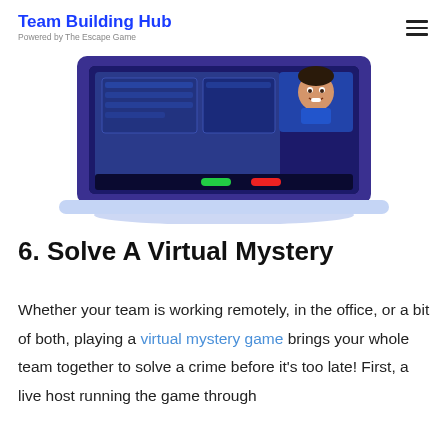Team Building Hub
Powered by The Escape Game
[Figure (illustration): Laptop computer illustration showing a video call interface with a person's face visible on screen, dark blue/purple frame with colorful UI elements including green and red buttons on the bottom bar.]
6. Solve A Virtual Mystery
Whether your team is working remotely, in the office, or a bit of both, playing a virtual mystery game brings your whole team together to solve a crime before it's too late! First, a live host running the game through